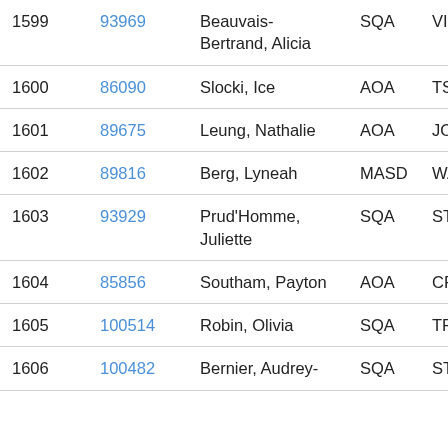| # | ID | Name | Org | Code |
| --- | --- | --- | --- | --- |
| 1599 | 93969 | Beauvais-Bertrand, Alicia | SQA | VIDEO |
| 1600 | 86090 | Slocki, Ice | AOA | TSCBM |
| 1601 | 89675 | Leung, Nathalie | AOA | JOZOW |
| 1602 | 89816 | Berg, Lyneah | MASD | WAR |
| 1603 | 93929 | Prud'Homme, Juliette | SQA | STSAV |
| 1604 | 85856 | Southam, Payton | AOA | CRAIG |
| 1605 | 100514 | Robin, Olivia | SQA | TREMBLE |
| 1606 | 100482 | Bernier, Audrey- | SQA | STSAV |